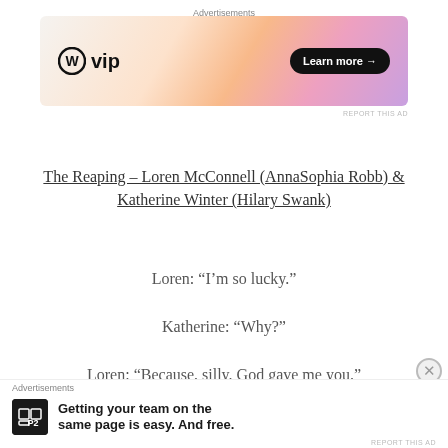Advertisements
[Figure (screenshot): WordPress VIP advertisement banner with gradient orange/pink/purple background, WP logo on left, 'Learn more →' button on right]
REPORT THIS AD
The Reaping – Loren McConnell (AnnaSophia Robb) & Katherine Winter (Hilary Swank)
Loren: “I’m so lucky.”
Katherine: “Why?”
Loren: “Because, silly. God gave me you.”
Advertisements
[Figure (screenshot): P2 advertisement with logo and text: Getting your team on the same page is easy. And free.]
REPORT THIS AD